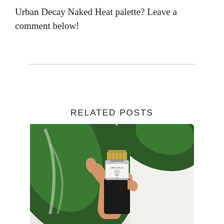Urban Decay Naked Heat palette? Leave a comment below!
RELATED POSTS
[Figure (photo): A hand holding a Shay & Blue perfume bottle with a gold cap, set against green tropical leaves and a white background.]